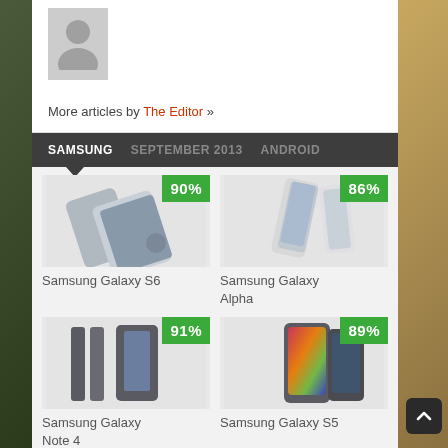[Figure (photo): Default user avatar placeholder with grey background showing silhouette of a person]
More articles by The Editor »
SAMSUNG   SEPTEMBER 2013   ANDROID
[Figure (photo): Samsung Galaxy S6 smartphone product image with 90% score badge]
[Figure (photo): Samsung Galaxy Alpha smartphone product image with 86% score badge]
Samsung Galaxy S6
Samsung Galaxy Alpha
[Figure (photo): Samsung Galaxy Note 4 smartphone product image with 91% score badge]
[Figure (photo): Samsung Galaxy S5 smartphone product image with 89% score badge]
Samsung Galaxy Note 4
Samsung Galaxy S5